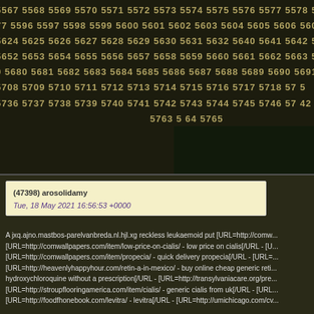[Figure (other): Dark background with rows of sequential numbers (5567-5763 range) overlaid on a dark nature scene with yellow flowers]
(47398) arosolidamy
Tue, 18 May 2021 16:56:53 +0000
A jxq.ajno.mastbos-parelvanbreda.nl.hjl.xg reckless leukaemoid put [URL=http://comw... [URL=http://comwallpapers.com/item/low-price-on-cialis/ - low price on cialis[/URL - [U... [URL=http://comwallpapers.com/item/propecia/ - quick delivery propecia[/URL - [URL=... [URL=http://heavenlyhappyhour.com/retin-a-in-mexico/ - buy online cheap generic reti... hydroxychloroquine without a prescription[/URL - [URL=http://transylvaniacare.org/pre... [URL=http://stroupflooringamerica.com/item/cialis/ - generic cialis from uk[/URL - [URL... [URL=http://foodfhonebook.com/levitra/ - levitra[/URL - [URL=http://umichicago.com/cv...